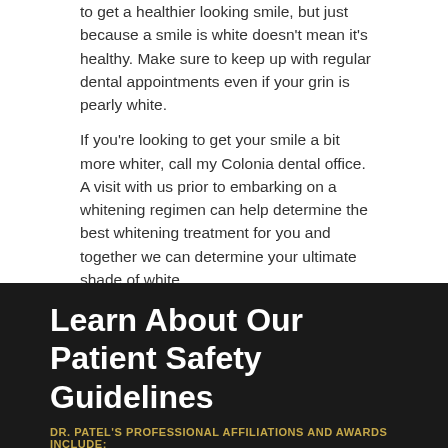to get a healthier looking smile, but just because a smile is white doesn't mean it's healthy. Make sure to keep up with regular dental appointments even if your grin is pearly white.
If you're looking to get your smile a bit more whiter, call my Colonia dental office. A visit with us prior to embarking on a whitening regimen can help determine the best whitening treatment for you and together we can determine your ultimate shade of white.
Welcoming patients from Colonia, Avenel, and Rahway.
Posted In: Cosmetic Dentistry, General Dental Articles
← Previous Post
Next Post →
Learn About Our Patient Safety Guidelines
DR. PATEL'S PROFESSIONAL AFFILIATIONS AND AWARDS INCLUDE: